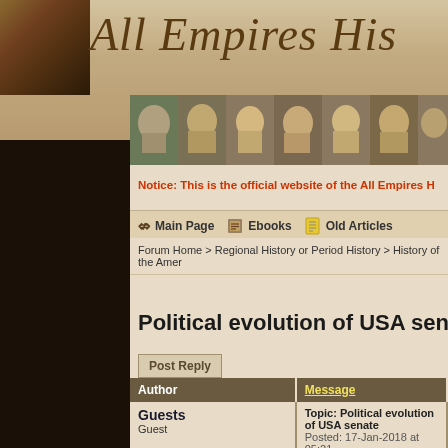All Empires His[tory Forum]
[Figure (photo): Historical figures mosaic strip showing stone busts/sculptures of various historical figures]
Notice: This is the official website of the All Empires H[istory Forum]
🏛 Main Page  📖 Ebooks  📄 Old Articles
Forum Home > Regional History or Period History > History of the Amer[icas]
Political evolution of USA senate 1789 -
Post Reply
| Author | Message |
| --- | --- |
| Guests
Guest | Topic: Political evolution of USA senate
Posted: 17-Jan-2018 at 05:21

Video link: https://www.youtube.com/w...

Hello, this is video shows most rec... |
Video link: https://www.youtube.com/w...
Hello, this is video shows most rec[ently]